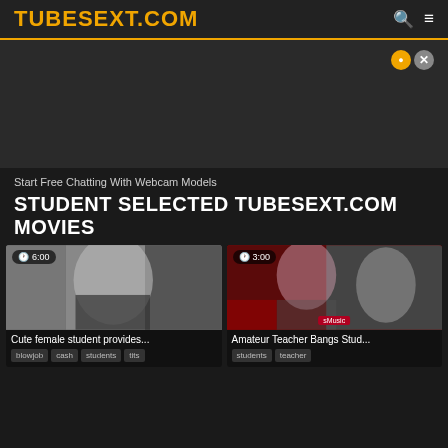TUBESEXT.COM
Start Free Chatting With Webcam Models
STUDENT SELECTED TUBESEXT.COM MOVIES
[Figure (screenshot): Video thumbnail: female student outdoors, duration 6:00]
Cute female student provides...
blowjob  cash  students  tits
[Figure (screenshot): Video thumbnail: teacher and student scene, duration 3:00]
Amateur Teacher Bangs Stud...
students  teacher